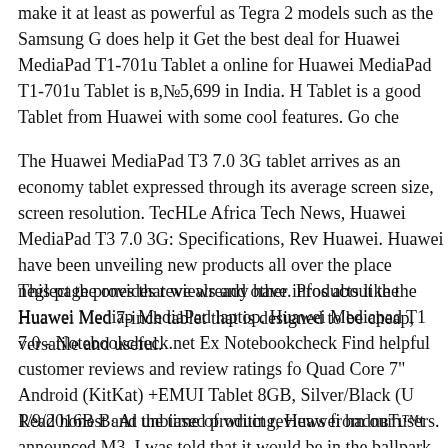make it at least as powerful as Tegra 2 models such as the Samsung does help it Get the best deal for Huawei MediaPad T1-701u Tablet a online for Huawei MediaPad T1-701u Tablet is в,№5,699 in India. H Tablet is a good Tablet from Huawei with some cool features. Go che
The Huawei MediaPad T3 7.0 3G tablet arrives as an economy tablet expressed through its average screen size, screen resolution. TecHLe Africa Tech News, Huawei MediaPad T3 7.0 3G: Specifications, Rev Huawei. Huawei have been unveiling new products all over the place neglect the ones that we already have. Products like the Huawei Med 7-inch tablet that is designed to be cheap, versatile and useful.
This page provides reviews and other infos about the Huawei Mediap MediaPad laptop. Huawei Mediapad T1 7.0 - Notebookcheck.net Ex Notebookcheck Find helpful customer reviews and review ratings fo Quad Core 7" Android (KitKat) +EMUI Tablet 8GB, Silver/Black (U Read honest and unbiased product reviews from our users.
1/9/2016В В· At the time of writing, Huawei hadnвЋ™t announced M3. I was told that it would be in the ballpark of the outgoing mode